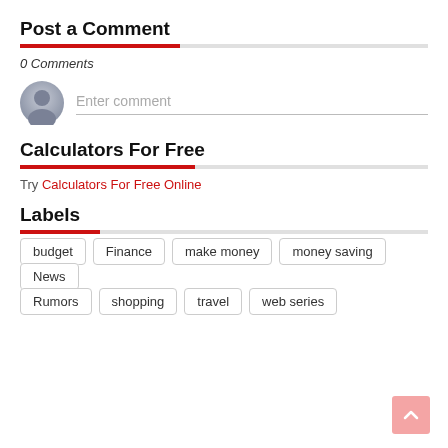Post a Comment
0 Comments
[Figure (illustration): User avatar circle icon (grey silhouette) next to an Enter comment input field with a bottom border]
Calculators For Free
Try Calculators For Free Online
Labels
budget
Finance
make money
money saving
News
Rumors
shopping
travel
web series